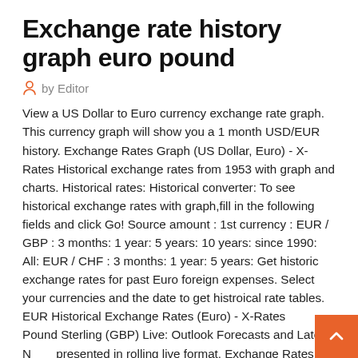Exchange rate history graph euro pound
by Editor
View a US Dollar to Euro currency exchange rate graph. This currency graph will show you a 1 month USD/EUR history. Exchange Rates Graph (US Dollar, Euro) - X-Rates Historical exchange rates from 1953 with graph and charts. Historical rates: Historical converter: To see historical exchange rates with graph,fill in the following fields and click Go! Source amount : 1st currency : EUR / GBP : 3 months: 1 year: 5 years: 10 years: since 1990: All: EUR / CHF : 3 months: 1 year: 5 years: Get historic exchange rates for past Euro foreign expenses. Select your currencies and the date to get histroical rate tables. EUR Historical Exchange Rates (Euro) - X-Rates Pound Sterling (GBP) Live: Outlook Forecasts and Latest News presented in rolling live format. Exchange Rates - Today's Exchange and Money Remittance Pound Sterling. This is the Euro